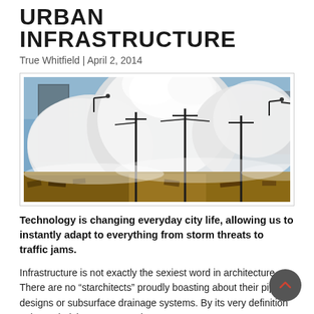URBAN INFRASTRUCTURE
True Whitfield | April 2, 2014
[Figure (photo): Large ocean waves crashing over urban infrastructure including rail lines and buildings, with dramatic spray and foam, city skyline visible in background]
Technology is changing everyday city life, allowing us to instantly adapt to everything from storm threats to traffic jams.
Infrastructure is not exactly the sexiest word in architecture. There are no “starchitects” proudly boasting about their pipe designs or subsurface drainage systems. By its very definition – the underlying structures that support our systems – infrastructure is inherently hidden from us, and therefore often